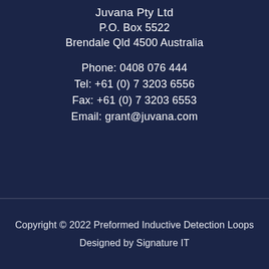Juvana Pty Ltd
P.O. Box 5522
Brendale Qld 4500 Australia
Phone: 0408 076 444
Tel: +61 (0) 7 3203 6556
Fax: +61 (0) 7 3203 6553
Email: grant@juvana.com
Copyright © 2022 Preformed Inductive Detection Loops
Designed by Signature IT